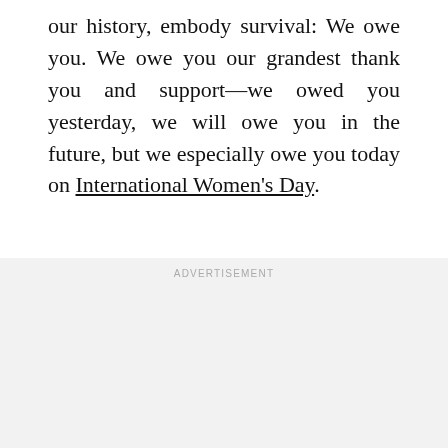our history, embody survival: We owe you. We owe you our grandest thank you and support—we owed you yesterday, we will owe you in the future, but we especially owe you today on International Women's Day.
ADVERTISEMENT